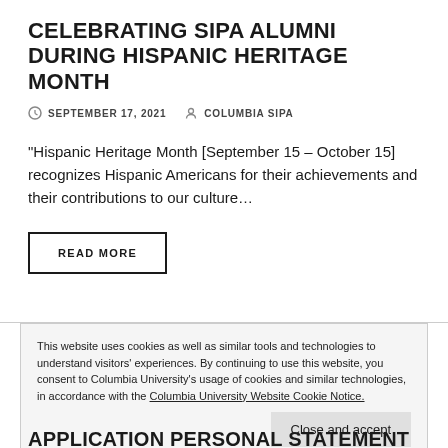CELEBRATING SIPA ALUMNI DURING HISPANIC HERITAGE MONTH
SEPTEMBER 17, 2021  COLUMBIA SIPA
“Hispanic Heritage Month [September 15 – October 15] recognizes Hispanic Americans for their achievements and their contributions to our culture…
READ MORE
This website uses cookies as well as similar tools and technologies to understand visitors' experiences. By continuing to use this website, you consent to Columbia University's usage of cookies and similar technologies, in accordance with the Columbia University Website Cookie Notice.
Close and accept
APPLICATION PERSONAL STATEMENT